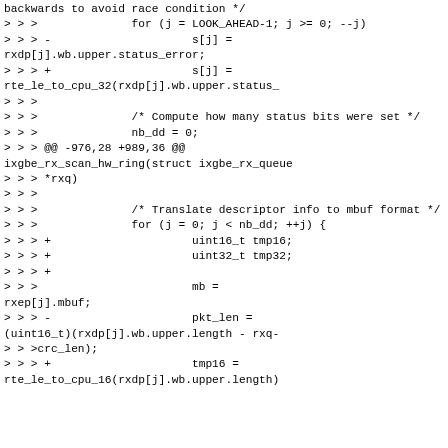backwards to avoid race condition */
> > >              for (j = LOOK_AHEAD-1; j >= 0; --j)
> > > -                     s[j] = rxdp[j].wb.upper.status_error;
> > > +                     s[j] = rte_le_to_cpu_32(rxdp[j].wb.upper.status_
> > >
> > >              /* Compute how many status bits were set */
> > >              nb_dd = 0;
> > > @@ -976,28 +989,36 @@ ixgbe_rx_scan_hw_ring(struct ixgbe_rx_queue
> > > *rxq)
> > >
> > >              /* Translate descriptor info to mbuf format */
> > >              for (j = 0; j < nb_dd; ++j) {
> > > +                     uint16_t tmp16;
> > > +                     uint32_t tmp32;
> > > +
> > >                       mb = rxep[j].mbuf;
> > > -                     pkt_len = (uint16_t)(rxdp[j].wb.upper.length - rxq->crc_len);
> > > +                     tmp16 = rte_le_to_cpu_16(rxdp[j].wb.upper.length)